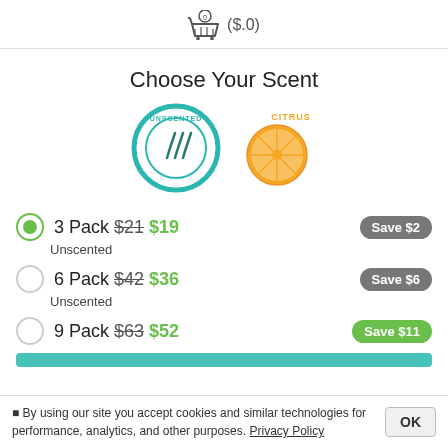($.0)
Choose Your Scent
[Figure (illustration): Two scent option icons: Unscented (teal circle with wavy lines) and Citrus (orange slice icon with orange label)]
3 Pack $21 $19 — Save $2, Unscented
6 Pack $42 $36 — Save $6, Unscented
9 Pack $63 $52 — Save $11
By using our site you accept cookies and similar technologies for performance, analytics, and other purposes. Privacy Policy